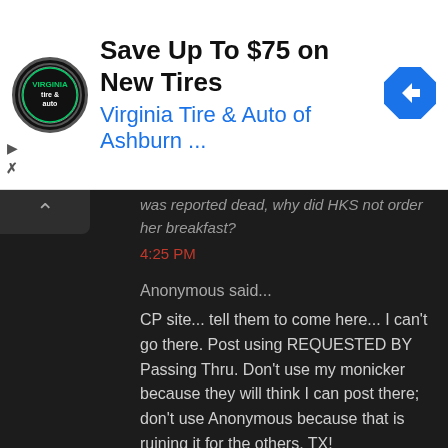[Figure (other): Advertisement banner: Virginia Tire & Auto of Ashburn logo (circular black icon with green text), ad title 'Save Up To $75 on New Tires', subtitle 'Virginia Tire & Auto of Ashburn ...', blue navigation arrow icon on right, play and close controls on left]
was reported dead, why did HKS not order her breakfast?
4:25 PM
Anonymous said...
CP site... tell them to come here... I can't go there. Post using REQUESTED BY Passing Thru. Don't use my monicker because they will think I can post there; don't use Anonymous because that is ruining it for the others. TX!
4:27 PM
Anonymous said...
passing thru-when they used IUD put in was commonly used before! You had to be on your